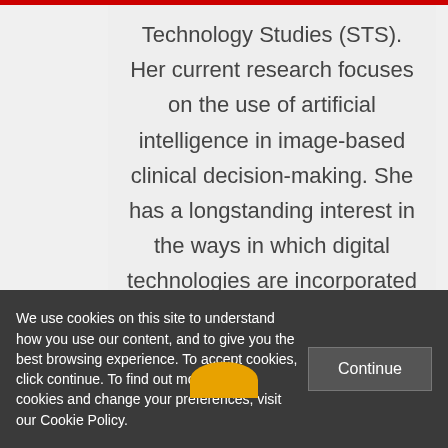Technology Studies (STS). Her current research focuses on the use of artificial intelligence in image-based clinical decision-making. She has a longstanding interest in the ways in which digital technologies are incorporated into the production of knowledge.
[Figure (illustration): Partial circular avatar/portrait icon in golden yellow color, partially visible at the bottom of the content card]
We use cookies on this site to understand how you use our content, and to give you the best browsing experience. To accept cookies, click continue. To find out more about cookies and change your preferences, visit our Cookie Policy.